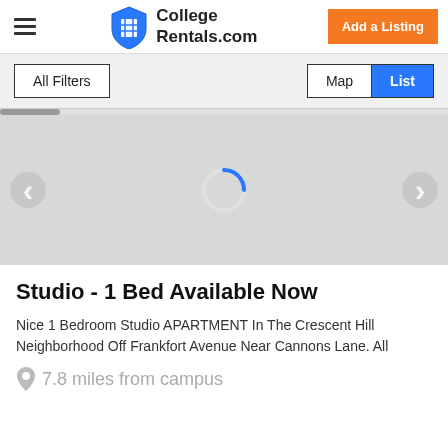College Rentals.com | Add a Listing
All Filters | Map | List
[Figure (screenshot): Gray image placeholder with loading spinner circle in center, left and right navigation arrows on sides]
Studio - 1 Bed Available Now
Nice 1 Bedroom Studio APARTMENT In The Crescent Hill Neighborhood Off Frankfort Avenue Near Cannons Lane. All
7.8 miles from campus